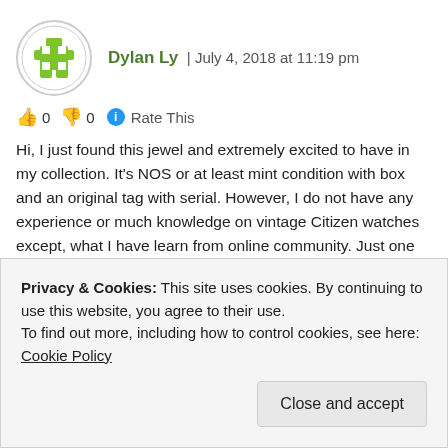Dylan Ly | July 4, 2018 at 11:19 pm
👍 0 👎 0 ℹ Rate This
Hi, I just found this jewel and extremely excited to have in my collection. It's NOS or at least mint condition with box and an original tag with serial. However, I do not have any experience or much knowledge on vintage Citizen watches except, what I have learn from online community. Just one question I have for your expert opinion. Is there anything you see that is NOT right about the watch?
Privacy & Cookies: This site uses cookies. By continuing to use this website, you agree to their use.
To find out more, including how to control cookies, see here: Cookie Policy
Close and accept